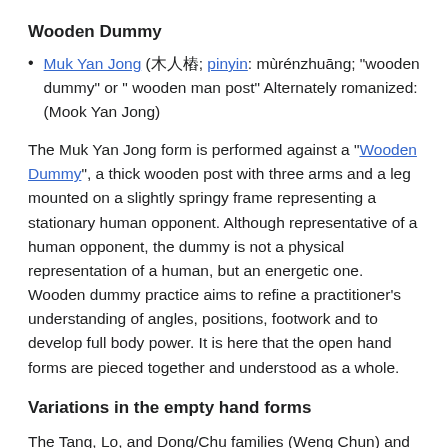Wooden Dummy
Muk Yan Jong (木人樁; pinyin: mùrénzhuāng; "wooden dummy" or " wooden man post" Alternately romanized:(Mook Yan Jong)
The Muk Yan Jong form is performed against a "Wooden Dummy", a thick wooden post with three arms and a leg mounted on a slightly springy frame representing a stationary human opponent. Although representative of a human opponent, the dummy is not a physical representation of a human, but an energetic one. Wooden dummy practice aims to refine a practitioner's understanding of angles, positions, footwork and to develop full body power. It is here that the open hand forms are pieced together and understood as a whole.
Variations in the empty hand forms
The Tang, Lo, and Dong/Chu families (Weng Chun) and Nguyễn Tế-Công(Modern non Chinese version of Yuen Chai Wan's